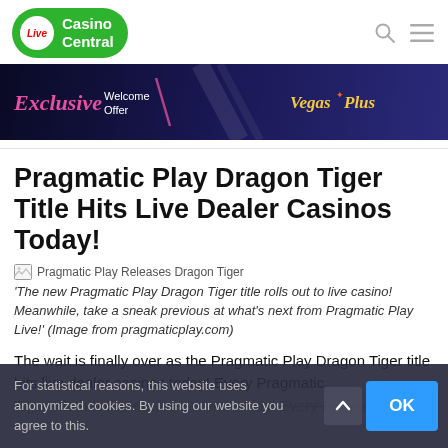[Figure (logo): Live Casino Central logo — green pill-shaped badge with 'Live' in red italic circle and 'Casino Central' in white bold text]
[Figure (infographic): VegasPlus exclusive welcome offer banner advertisement — dark blue background with pink 'Exclusive Welcome Offer' text, a suited figure, and Vegas Plus branding in gold]
Pragmatic Play Dragon Tiger Title Hits Live Dealer Casinos Today!
[Figure (photo): Pragmatic Play Releases Dragon Tiger — broken image placeholder]
'The new Pragmatic Play Dragon Tiger title rolls out to live casino! Meanwhile, take a sneak previous at what's next from Pragmatic Play Live!' (Image from pragmaticplay.com)
The wait is finally over as the Pragmatic Play Dragon Tiger title hits live dealer casinos today! Every Pragmatic
For statistical reasons, this website uses anonymized cookies. By using our website you agree to this.